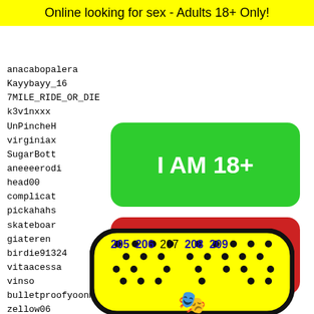Online looking for sex - Adults 18+ Only!
anacabopalera
Kayybayy_16
7MILE_RIDE_OR_DIE
k3v1nxxx
UnPincheH...
virginiax...
SugarBott...
aneeeerodi...
head00
complicat...
pickahahs...
skateboar...
giateren...
birdie91324
vitaacessa
vinso
bulletproofyoonmin
zellow06
jazzyjay007
vaaalr~~
libon0
martaa
9krish
John41
thonka
sugaro
[Figure (other): Green button with text I AM 18+]
[Figure (other): Red button with text EXIT]
205 206 207 208 209
[Figure (illustration): Yellow padel/paddle racket with black dots pattern and emoji face at bottom]